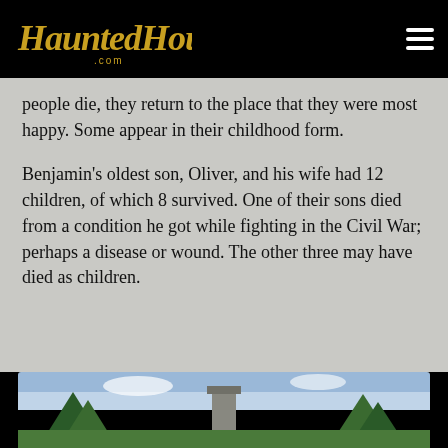HauntedHouses.com
people die, they return to the place that they were most happy. Some appear in their childhood form.
Benjamin's oldest son, Oliver, and his wife had 12 children, of which 8 survived. One of their sons died from a condition he got while fighting in the Civil War; perhaps a disease or wound. The other three may have died as children.
[Figure (photo): Exterior photo of a house with trees and a chimney visible, taken from below with sky and clouds in background]